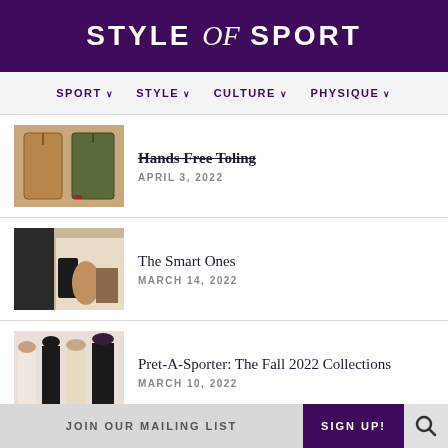STYLE of SPORT
SPORT STYLE CULTURE PHYSIQUE
Hands Free Toling
APRIL 3, 2022
The Smart Ones
MARCH 14, 2022
Pret-A-Sporter: The Fall 2022 Collections
MARCH 10, 2022
Fashion's Game On
JOIN OUR MAILING LIST   SIGN UP!